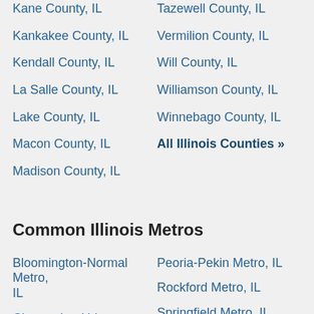Kane County, IL
Tazewell County, IL
Kankakee County, IL
Vermilion County, IL
Kendall County, IL
Will County, IL
La Salle County, IL
Williamson County, IL
Lake County, IL
Winnebago County, IL
Macon County, IL
All Illinois Counties »
Madison County, IL
Common Illinois Metros
Bloomington-Normal Metro, IL
Peoria-Pekin Metro, IL
Rockford Metro, IL
Champaign-Urbana Metro, IL
Springfield Metro, IL
Chicago Metro, IL